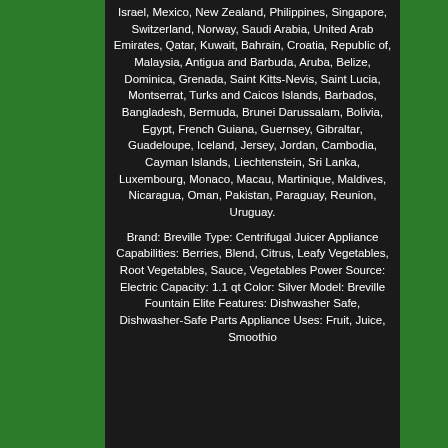Israel, Mexico, New Zealand, Philippines, Singapore, Switzerland, Norway, Saudi Arabia, United Arab Emirates, Qatar, Kuwait, Bahrain, Croatia, Republic of, Malaysia, Antigua and Barbuda, Aruba, Belize, Dominica, Grenada, Saint Kitts-Nevis, Saint Lucia, Montserrat, Turks and Caicos Islands, Barbados, Bangladesh, Bermuda, Brunei Darussalam, Bolivia, Egypt, French Guiana, Guernsey, Gibraltar, Guadeloupe, Iceland, Jersey, Jordan, Cambodia, Cayman Islands, Liechtenstein, Sri Lanka, Luxembourg, Monaco, Macau, Martinique, Maldives, Nicaragua, Oman, Pakistan, Paraguay, Reunion, Uruguay.
Brand: Breville Type: Centrifugal Juicer Appliance Capabilities: Berries, Blend, Citrus, Leafy Vegetables, Root Vegetables, Sauce, Vegetables Power Source: Electric Capacity: 1.1 qt Color: Silver Model: Breville Fountain Elite Features: Dishwasher Safe, Dishwasher-Safe Parts Appliance Uses: Fruit, Juice, Smoothio